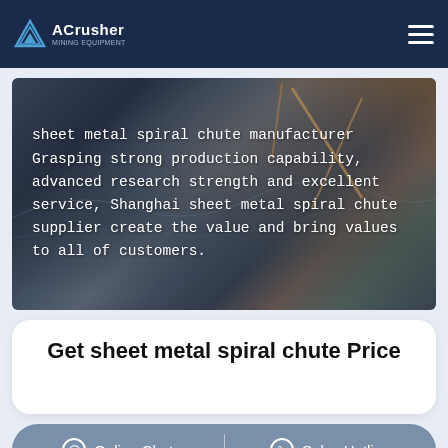ACrusher - Mining Equipment
[Figure (photo): Aerial view of a quarry/mining site with excavators and heavy machinery on rocky terrain with grey and orange/rust colored rock formations]
sheet metal spiral chute manufacturer Grasping strong production capability, advanced research strength and excellent service, Shanghai sheet metal spiral chute supplier create the value and bring values to all of customers.
Get sheet metal spiral chute Price
Online Chat | Sales Hotline